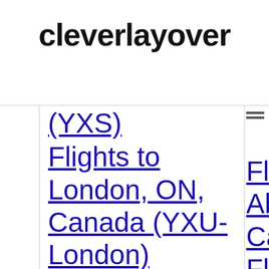cleverlayover
(YXS)
Flights to London, ON, Canada (YXU-London)
Flights to